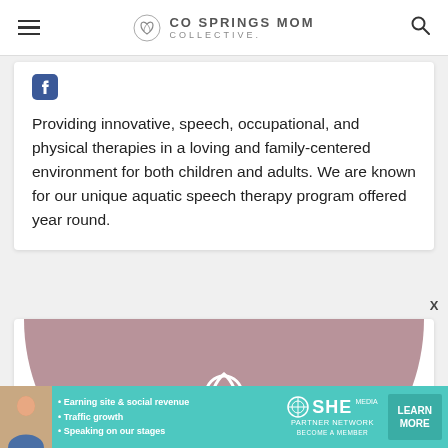CO SPRINGS MOM COLLECTIVE
Providing innovative, speech, occupational, and physical therapies in a loving and family-centered environment for both children and adults. We are known for our unique aquatic speech therapy program offered year round.
[Figure (logo): CO Springs Mom Collective logo — white lotus flower outline on mauve/dusty rose semicircle background]
[Figure (other): SHE Partner Network advertisement banner with woman photo, bullet points about earning site & social revenue, traffic growth, speaking on our stages, SHE logo, and Learn More button]